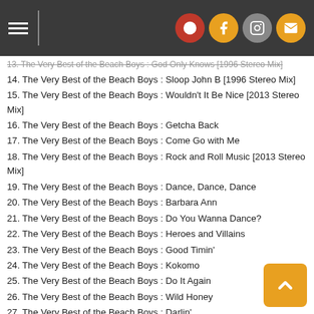Navigation header with hamburger menu and social icons
13. The Very Best of the Beach Boys : God Only Knows [1996 Stereo Mix]
14. The Very Best of the Beach Boys : Sloop John B [1996 Stereo Mix]
15. The Very Best of the Beach Boys : Wouldn't It Be Nice [2013 Stereo Mix]
16. The Very Best of the Beach Boys : Getcha Back
17. The Very Best of the Beach Boys : Come Go with Me
18. The Very Best of the Beach Boys : Rock and Roll Music [2013 Stereo Mix]
19. The Very Best of the Beach Boys : Dance, Dance, Dance
20. The Very Best of the Beach Boys : Barbara Ann
21. The Very Best of the Beach Boys : Do You Wanna Dance?
22. The Very Best of the Beach Boys : Heroes and Villains
23. The Very Best of the Beach Boys : Good Timin'
24. The Very Best of the Beach Boys : Kokomo
25. The Very Best of the Beach Boys : Do It Again
26. The Very Best of the Beach Boys : Wild Honey
27. The Very Best of the Beach Boys : Darlin'
28. The Very Best of the Beach Boys : I Can Hear Music
29. The Very Best of the Beach Boys : Good Vibrations